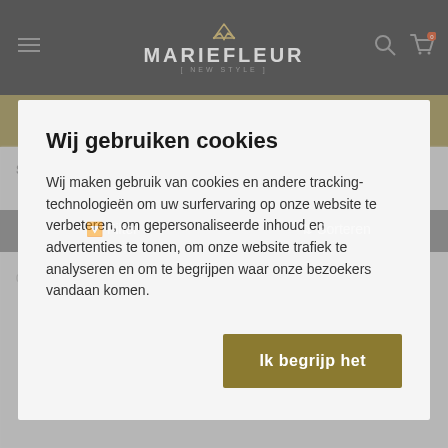[Figure (screenshot): Mariefleur webshop header with dark navbar, logo, hamburger menu, search and cart icons]
✓ BETAAL VEILIG
SCHOENEN > Slipper > Kids
Filter
⇅ Sorteren
0 artikelen van de 0 artikelen zichtbaar
Wij gebruiken cookies
Wij maken gebruik van cookies en andere tracking-technologieën om uw surfervaring op onze website te verbeteren, om gepersonaliseerde inhoud en advertenties te tonen, om onze website trafiek te analyseren en om te begrijpen waar onze bezoekers vandaan komen.
Ik begrijp het